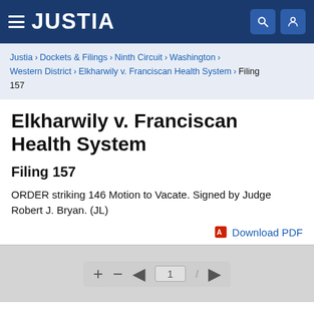JUSTIA
Justia › Dockets & Filings › Ninth Circuit › Washington › Western District › Elkharwily v. Franciscan Health System › Filing 157
Elkharwily v. Franciscan Health System
Filing 157
ORDER striking 146 Motion to Vacate. Signed by Judge Robert J. Bryan. (JL)
Download PDF
[Figure (screenshot): PDF viewer navigation bar showing +, -, back arrow, page number input showing 1 with slash, and forward arrow controls on a gray background]